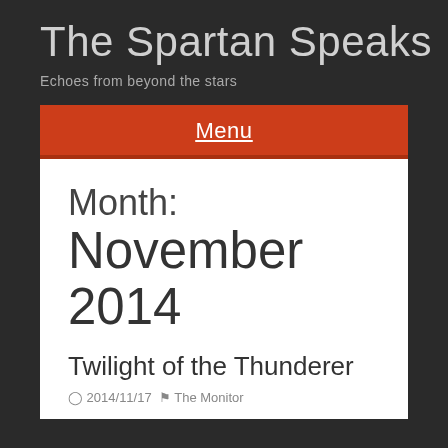The Spartan Speaks
Echoes from beyond the stars
Menu
Month: November 2014
Twilight of the Thunderer
2014/11/17  The Monitor